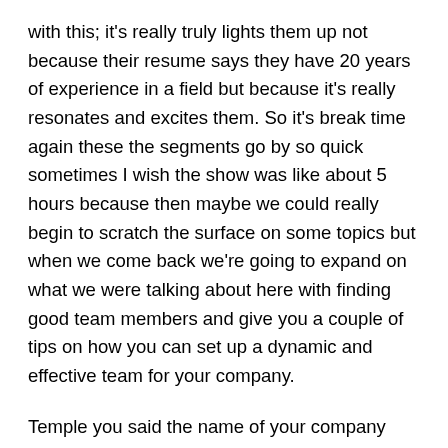with this; it's really truly lights them up not because their resume says they have 20 years of experience in a field but because it's really resonates and excites them. So it's break time again these the segments go by so quick sometimes I wish the show was like about 5 hours because then maybe we could really begin to scratch the surface on some topics but when we come back we're going to expand on what we were talking about here with finding good team members and give you a couple of tips on how you can set up a dynamic and effective team for your company.
Temple you said the name of your company was 123 Launch Me, which I think is an awesome name by the way. Tell us a little bit about what you do and